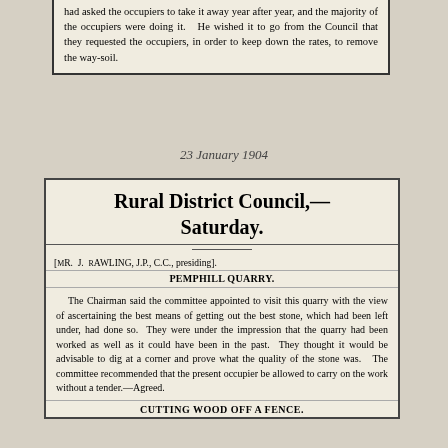had asked the occupiers to take it away year after year, and the majority of the occupiers were doing it. He wished it to go from the Council that they requested the occupiers, in order to keep down the rates, to remove the way-soil.
23 January 1904
Rural District Council,— Saturday.
[Mr. J. Rawling, J.P., C.C., presiding].
PEMPHILL QUARRY.
The Chairman said the committee appointed to visit this quarry with the view of ascertaining the best means of getting out the best stone, which had been left under, had done so. They were under the impression that the quarry had been worked as well as it could have been in the past. They thought it would be advisable to dig at a corner and prove what the quality of the stone was. The committee recommended that the present occupier be allowed to carry on the work without a tender.—Agreed.
CUTTING WOOD OFF A FENCE.